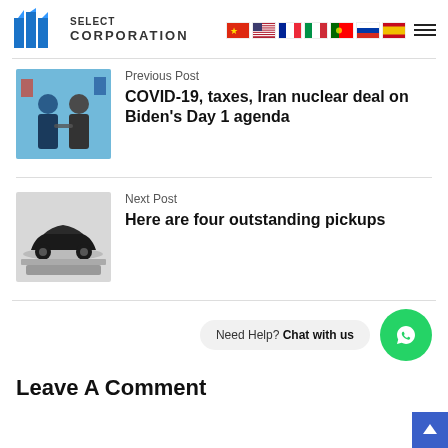[Figure (logo): BMG Select Corporation logo with blue building/flag icon and text]
[Figure (infographic): Row of country flag icons: China, USA, France, Italy, Portugal, Russia, Spain; and hamburger menu icon]
Previous Post
[Figure (photo): Two men shaking hands in front of flags (politicians)]
COVID-19, taxes, Iran nuclear deal on Biden's Day 1 agenda
Next Post
[Figure (photo): Black car on a platform against gray background]
Here are four outstanding pickups
Need Help? Chat with us
Leave A Comment